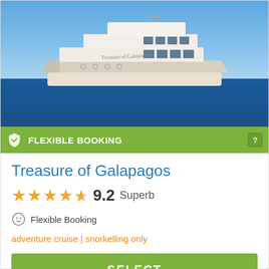[Figure (photo): White luxury catamaran yacht named 'Treasure of Galapagos' on blue ocean with blue sky background]
FLEXIBLE BOOKING
Treasure of Galapagos
9.2 Superb
Flexible Booking
adventure cruise | snorkelling only
SELECT